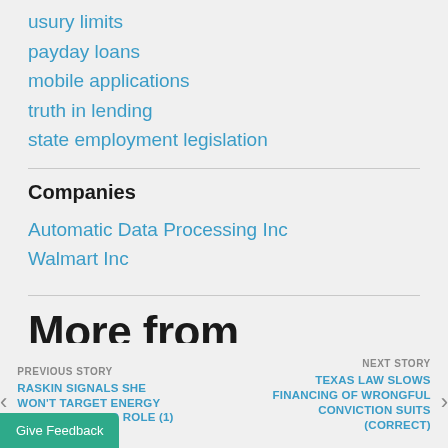usury limits
payday loans
mobile applications
truth in lending
state employment legislation
Companies
Automatic Data Processing Inc
Walmart Inc
More from Bloomberg
PREVIOUS STORY
RASKIN SIGNALS SHE WON'T TARGET ENERGY INDUSTRY IN FED ROLE (1)
NEXT STORY
TEXAS LAW SLOWS FINANCING OF WRONGFUL CONVICTION SUITS (CORRECT)